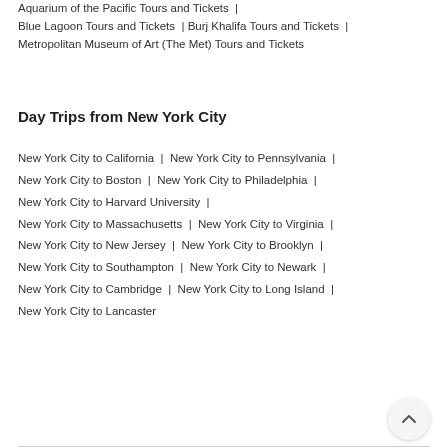Aquarium of the Pacific Tours and Tickets |
Blue Lagoon Tours and Tickets | Burj Khalifa Tours and Tickets |
Metropolitan Museum of Art (The Met) Tours and Tickets
Day Trips from New York City
New York City to California | New York City to Pennsylvania |
New York City to Boston | New York City to Philadelphia |
New York City to Harvard University |
New York City to Massachusetts | New York City to Virginia |
New York City to New Jersey | New York City to Brooklyn |
New York City to Southampton | New York City to Newark |
New York City to Cambridge | New York City to Long Island |
New York City to Lancaster